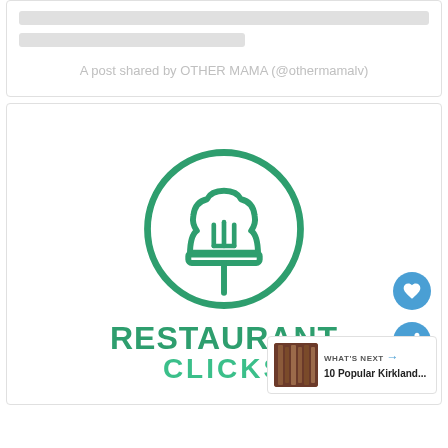A post shared by OTHER MAMA (@othermamalv)
[Figure (logo): Restaurant Clicks logo — green chef hat with fork inside a green circle, with text RESTAURANT CLICKS below in green bold font]
WHAT'S NEXT → 10 Popular Kirkland...